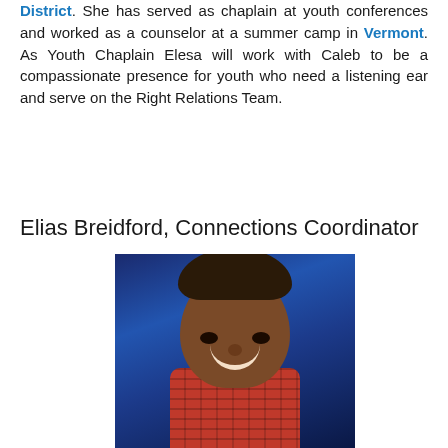District. She has served as chaplain at youth conferences and worked as a counselor at a summer camp in Vermont. As Youth Chaplain Elesa will work with Caleb to be a compassionate presence for youth who need a listening ear and serve on the Right Relations Team.
Elias Breidford, Connections Coordinator
[Figure (photo): Portrait photo of Elias Breidford, a young man smiling against a blue background, wearing a red plaid shirt]